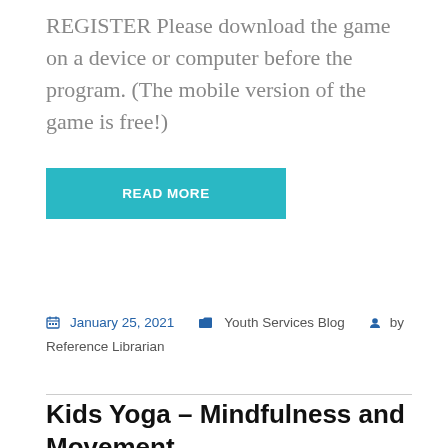REGISTER Please download the game on a device or computer before the program. (The mobile version of the game is free!)
READ MORE
January 25, 2021   Youth Services Blog   by Reference Librarian
Kids Yoga – Mindfulness and Movement